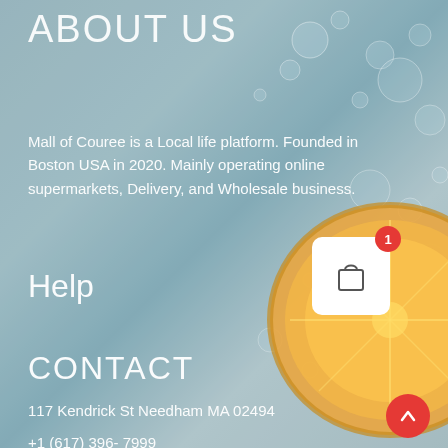ABOUT US
Mall of Couree is a Local life platform. Founded in Boston USA in 2020. Mainly operating online supermarkets, Delivery, and Wholesale business.
Help
CONTACT
117 Kendrick St Needham MA 02494
+1 (617) 396- 7999
[Figure (infographic): Shopping cart icon button with red badge showing number 1, and a red circular up-arrow button below it]